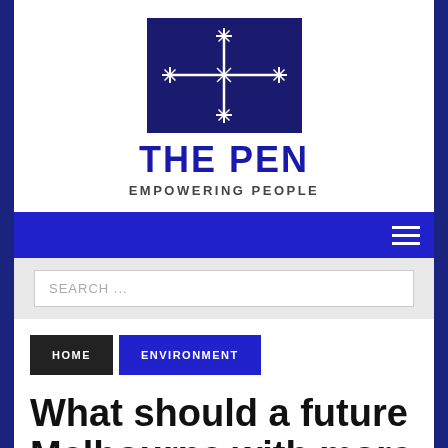[Figure (logo): The Pen logo: dark navy blue rectangle with a white cross/star pattern (Southern Cross constellation motif) centered inside]
THE PEN
EMPOWERING PEOPLE
[Figure (other): Dark blue navigation bar with a hamburger menu icon (three white horizontal lines) on the right]
[Figure (other): Light grey search bar area with a white search input field containing placeholder text 'SEARCH ...']
HOME
ENVIRONMENT
What should a future Melbourne with more